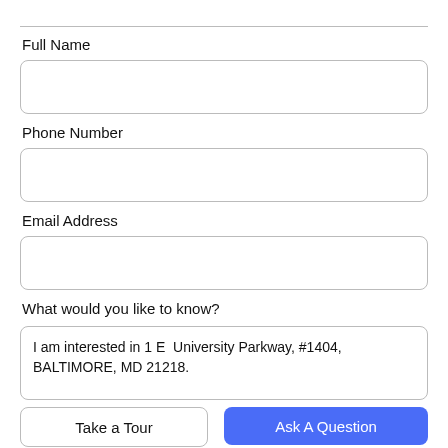Full Name
Phone Number
Email Address
What would you like to know?
I am interested in 1 E  University Parkway, #1404, BALTIMORE, MD 21218.
Take a Tour
Ask A Question